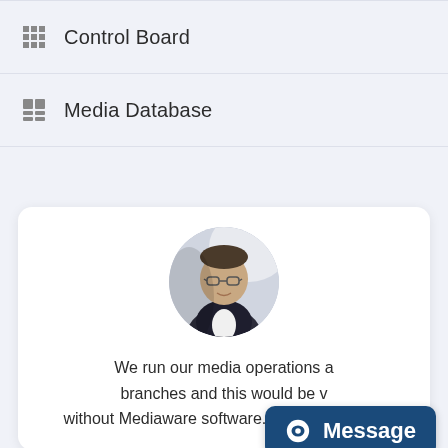Control Board
Media Database
[Figure (photo): Circular profile photo of a middle-aged man wearing glasses and a dark blazer over a white shirt, with a light background.]
We run our media operations a branches and this would be without Mediaware software. Our client billing
Message